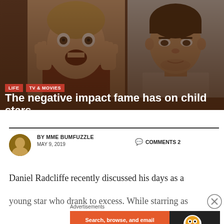[Figure (photo): Two photos side by side: left shows young child actor (Macaulay Culkin in Home Alone pose, hands on cheeks, mouth open); right shows older young man (mugshot-style photo)]
The negative impact fame has on child stars
BY MME BUMFUZZLE   COMMENTS 2
MAY 9, 2019
Daniel Radcliffe recently discussed his days as a young star who drank to excess. While starring as
[Figure (screenshot): DuckDuckGo advertisement: Search, browse, and email with more privacy. All in One Free App.]